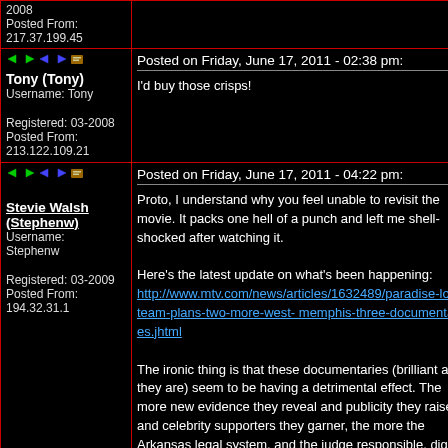| User Info | Post Content |
| --- | --- |
| [icons]

Tony (Tony)
Username: Tony

Registered: 03-2008
Posted From:
213.122.109.21 | Posted on Friday, June 17, 2011 - 02:38 pm:

I'd buy those crisps! |
| [icons]

Stevie Walsh (Stephenw)
Username: Stephenw

Registered: 03-2009
Posted From:
194.32.31.1 | Posted on Friday, June 17, 2011 - 04:22 pm:

Proto, I understand why you feel unable to revisit the movie. It packs one hell of a punch and left me shell-shocked after watching it.

Here's the latest update on what's been happening:
http://www.mtv.com/news/articles/1632489/paradise-lost-team-plans-two-more-west-memphis-three-documentaries.jhtml

The ironic thing is that these documentaries (brilliant as they are) seem to be having a detrimental effect. The more new evidence they reveal and publicity they raise, and celebrity supporters they garner, the more the Arkansas legal system, and the judge responsible, dig their heels in and seem determined to let the original verdict stand. While the man who |